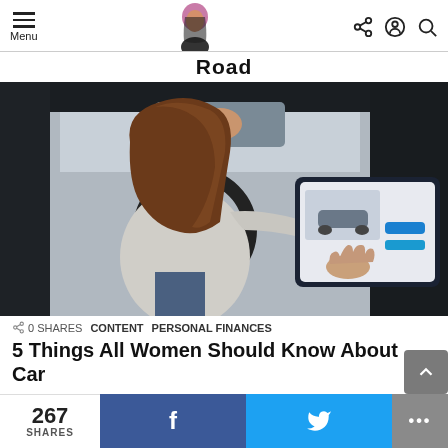Menu | Road
[Figure (photo): Woman sitting in driver's seat of a Tesla, reaching toward the large touchscreen display showing a vehicle interface. View from rear seat, dark interior.]
0 SHARES   CONTENT   PERSONAL FINANCES
5 Things All Women Should Know About Car
267 SHARES  f  🐦  ...